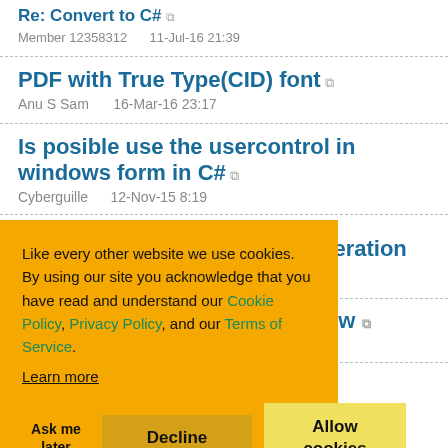Re: Convert to C#
Member 12358312    11-Jul-16 21:39
PDF with True Type(CID) font
Anu S Sam    16-Mar-16 23:17
Is posible use the usercontrol in windows form in C#
Cyberguille    12-Nov-15 8:19
Like every other website we use cookies. By using our site you acknowledge that you have read and understand our Cookie Policy, Privacy Policy, and our Terms of Service. Learn more
Ask me later   Decline   Allow cookies
...peration
...iew
Richard Atkinson    12-Mar-15 23:00